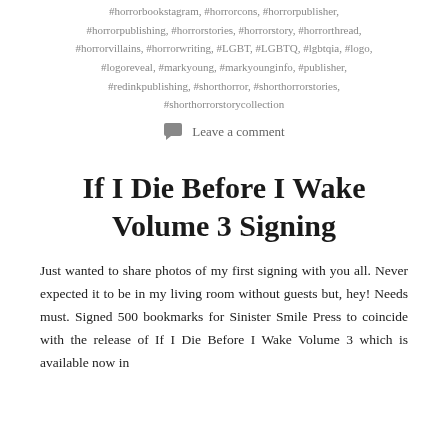#horrorbookstagram, #horrorcons, #horrorpublisher, #horrorpublishing, #horrorstories, #horrorstory, #horrorthread, #horrorvillains, #horrorwriting, #LGBT, #LGBTQ, #lgbtqia, #logo, #logoreveal, #markyoung, #markyounginfo, #publisher, #redinkpublishing, #shorthorror, #shorthorrorstories, #shorthorrorstorycollection
Leave a comment
If I Die Before I Wake Volume 3 Signing
Just wanted to share photos of my first signing with you all. Never expected it to be in my living room without guests but, hey! Needs must. Signed 500 bookmarks for Sinister Smile Press to coincide with the release of If I Die Before I Wake Volume 3 which is available now in